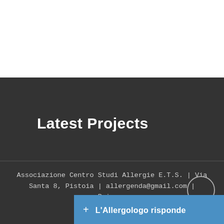Latest Projects
Associazione Centro Studi Allergie E.T.S. | Via Santa 8, Pistoia | allergenda@gmail.com | Privacy
+ L'Allergologo risponde